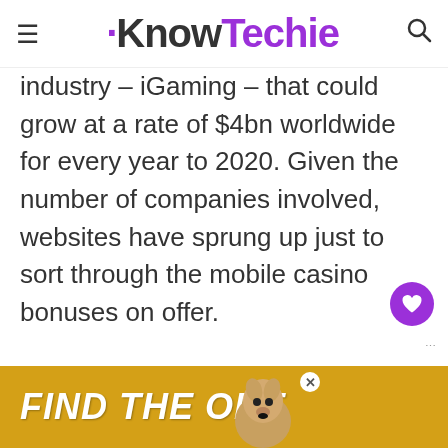KnowTechie
industry – iGaming – that could grow at a rate of $4bn worldwide for every year to 2020. Given the number of companies involved, websites have sprung up just to sort through the mobile casino bonuses on offer.
[Figure (other): Advertisement banner: FIND THE ONE with a dog image]